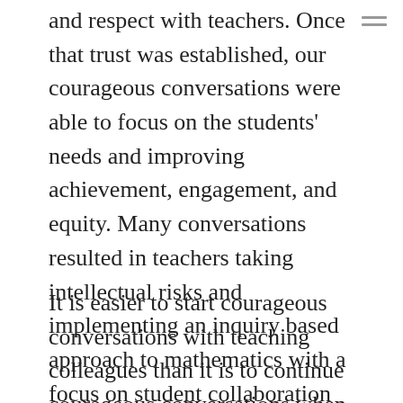and respect with teachers. Once that trust was established, our courageous conversations were able to focus on the students' needs and improving achievement, engagement, and equity. Many conversations resulted in teachers taking intellectual risks and implementing an inquiry based approach to mathematics with a focus on student collaboration and creating a community of learners. However, some conversations led to agreeing to disagree. These are the situations where I feel that I need more growth.
It is easier to start courageous conversations with teaching colleagues than it is to continue courageous conversations when there is no resolution or agreement. However, after reading the article, I was reminded of the importance of